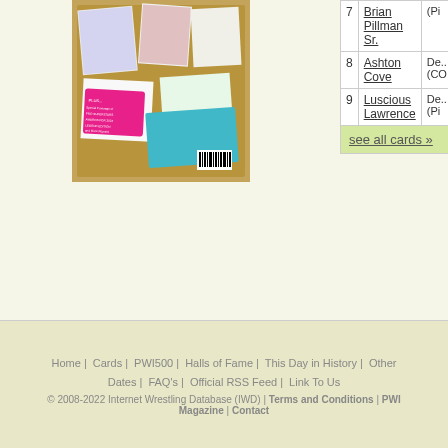[Figure (photo): Wrestling trading card magazine cover image on a cork board, showing wrestlers in action with colorful graphics and text]
| # | Name | Description |
| --- | --- | --- |
| 7 | Brian Pillman Sr. | (Pi... |
| 8 | Ashton Cove | De... (CO... |
| 9 | Luscious Lawrence | De... (Pi... |
see all cards »
When using information on this site,
Home | Cards | PWI500 | Halls of Fame | This Day in History | Other | Dates | FAQ's | Official RSS Feed | Link To Us
© 2008-2022 Internet Wrestling Database (IWD) | Terms and Conditions | PWI Magazine | Contact